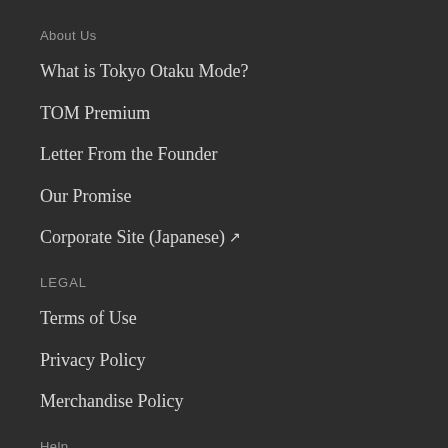About Us
What is Tokyo Otaku Mode?
TOM Premium
Letter From the Founder
Our Promise
Corporate Site (Japanese) ↗
LEGAL
Terms of Use
Privacy Policy
Merchandise Policy
Help
TOM Shop FAQ
TOM Premium FAQ